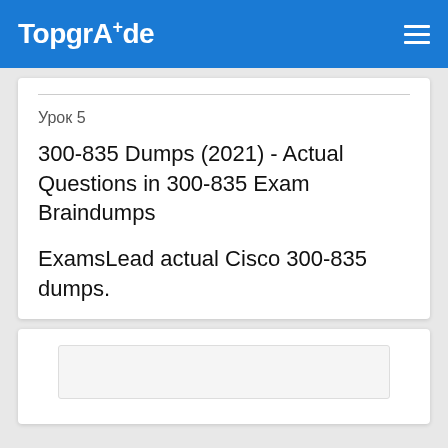TopgrAde
Урок 5
300-835 Dumps (2021) - Actual Questions in 300-835 Exam Braindumps
ExamsLead actual Cisco 300-835 dumps.